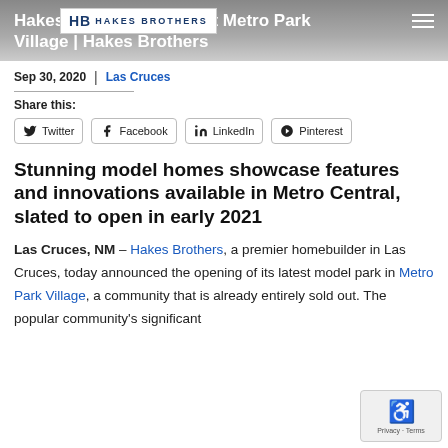Hakes Brothers Sells Out Metro Park Village | Hakes Brothers
[Figure (logo): Hakes Brothers logo: HB monogram with HAKES BROTHERS text]
Sep 30, 2020  |  Las Cruces
Share this:
Twitter  Facebook  LinkedIn  Pinterest
Stunning model homes showcase features and innovations available in Metro Central, slated to open in early 2021
Las Cruces, NM – Hakes Brothers, a premier homebuilder in Las Cruces, today announced the opening of its latest model park in Metro Park Village, a community that is already entirely sold out. The popular community's significant